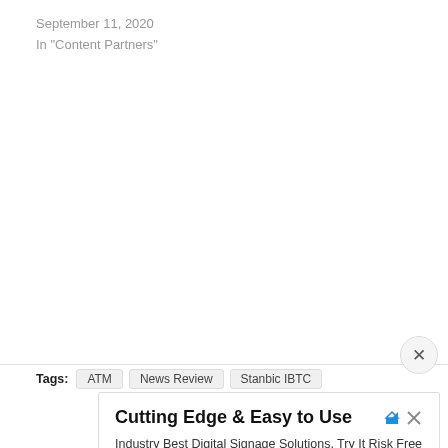September 11, 2020
In "Content Partners"
Tags: ATM  News Review  Stanbic IBTC
[Figure (other): Close button (X) overlay on upper right of ad region]
Cutting Edge & Easy to Use
Industry Best Digital Signage Solutions. Try It Risk Free for 30 Days. Book A Demo Today.
Raydiant   Open